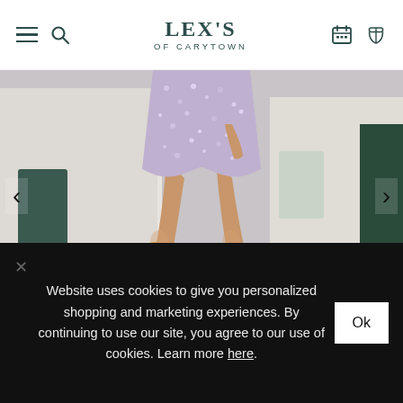LEX'S OF CARYTOWN
[Figure (photo): A woman wearing a short sparkly/sequin lavender mini dress standing on a cobblestone street with yellow curbs and white buildings in the background. Only her legs and lower body are visible.]
Website uses cookies to give you personalized shopping and marketing experiences. By continuing to use our site, you agree to our use of cookies. Learn more here.